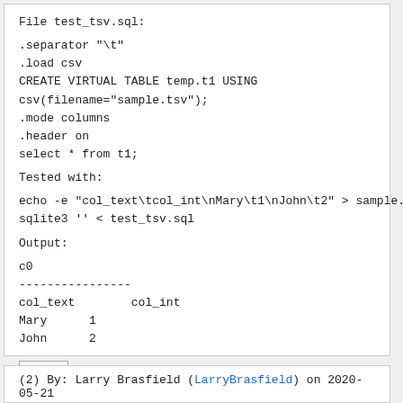File test_tsv.sql:
.separator "\t"
.load csv
CREATE VIRTUAL TABLE temp.t1 USING
csv(filename="sample.tsv");
.mode columns
.header on
select * from t1;
Tested with:
echo -e "col_text\tcol_int\nMary\t1\nJohn\t2" > sample.tsv
sqlite3 '' < test_tsv.sql
Output:
c0
----------------
col_text        col_int
Mary      1
John      2
Reply
(2) By: Larry Brasfield (LarryBrasfield) on 2020-05-21